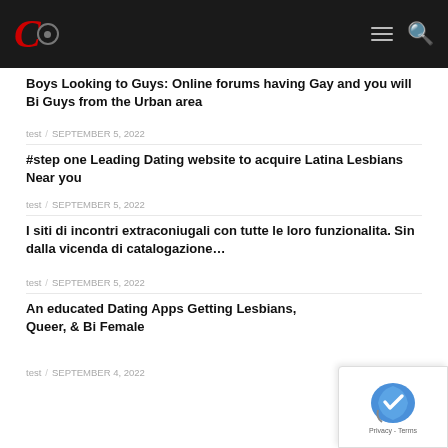Website header with logo and navigation icons
Boys Looking to Guys: Online forums having Gay and you will Bi Guys from the Urban area
test / SEPTEMBER 5, 2022
#step one Leading Dating website to acquire Latina Lesbians Near you
test / SEPTEMBER 5, 2022
I siti di incontri extraconiugali con tutte le loro funzionalita. Sin dalla vicenda di catalogazione…
test / SEPTEMBER 5, 2022
An educated Dating Apps Getting Lesbians, Queer, & Bi Female
test / SEPTEMBER 4, 2022